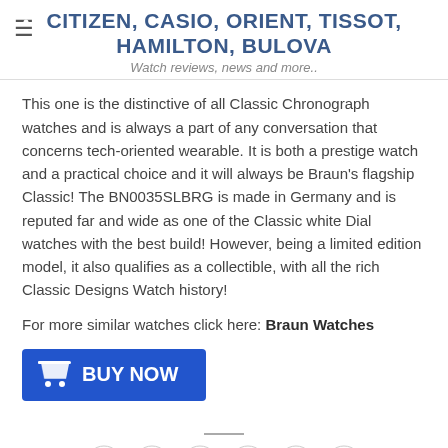CITIZEN, CASIO, ORIENT, TISSOT, HAMILTON, BULOVA
Watch reviews, news and more..
This one is the distinctive of all Classic Chronograph watches and is always a part of any conversation that concerns tech-oriented wearable. It is both a prestige watch and a practical choice and it will always be Braun's flagship Classic! The BN0035SLBRG is made in Germany and is reputed far and wide as one of the Classic white Dial watches with the best build! However, being a limited edition model, it also qualifies as a collectible, with all the rich Classic Designs Watch history!
For more similar watches click here: Braun Watches
[Figure (other): Blue BUY NOW button with shopping cart icon]
[Figure (other): Social media share icons row: WhatsApp, Facebook, Twitter, Email, Pinterest, LinkedIn]